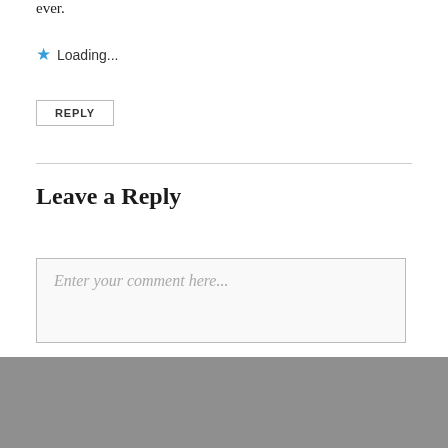ever.
Loading...
REPLY
Leave a Reply
Enter your comment here...
PREVIOUS
The Bathroom: Before
NEXT